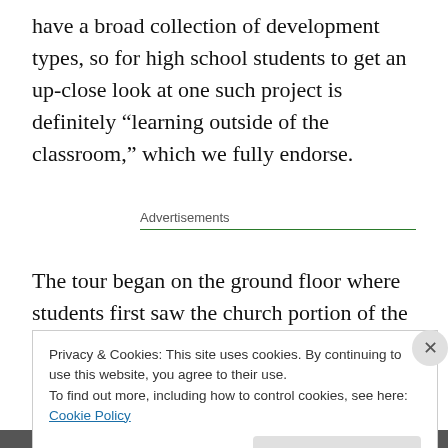have a broad collection of development types, so for high school students to get an up-close look at one such project is definitely “learning outside of the classroom,” which we fully endorse.
Advertisements
The tour began on the ground floor where students first saw the church portion of the project, including the entrance and open sanctuary space. From there, the
Privacy & Cookies: This site uses cookies. By continuing to use this website, you agree to their use.
To find out more, including how to control cookies, see here: Cookie Policy
Close and accept